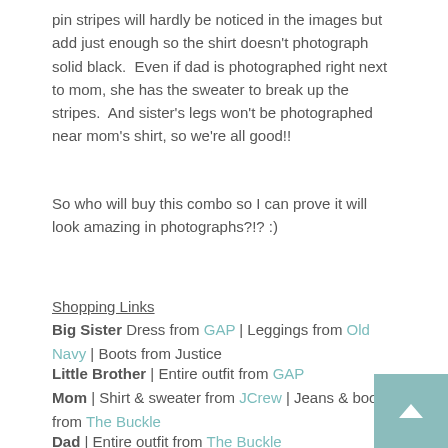pin stripes will hardly be noticed in the images but add just enough so the shirt doesn't photograph solid black.  Even if dad is photographed right next to mom, she has the sweater to break up the stripes.  And sister's legs won't be photographed near mom's shirt, so we're all good!!
So who will buy this combo so I can prove it will look amazing in photographs?!? :)
Shopping Links
Big Sister Dress from GAP | Leggings from Old Navy | Boots from Justice
Little Brother | Entire outfit from GAP
Mom | Shirt & sweater from JCrew | Jeans & boots from The Buckle
Dad | Entire outfit from The Buckle
Okay....family #2....MY OWN!!  Another thing to keep in mind is the location of your session and also the style of your